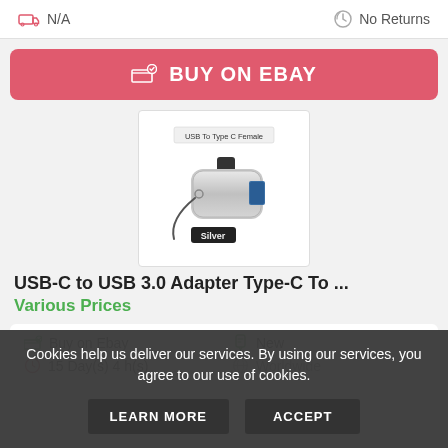N/A
No Returns
BUY ON EBAY
[Figure (photo): USB-C to USB 3.0 adapter product image, silver color with 'USB To Type C Female' label and 'Silver' badge]
USB-C to USB 3.0 Adapter Type-C To ...
Various Prices
Buy on Ebay
New
15 Day(s) 4 h(s)
Worldwide
Cookies help us deliver our services. By using our services, you agree to our use of cookies.
LEARN MORE
ACCEPT